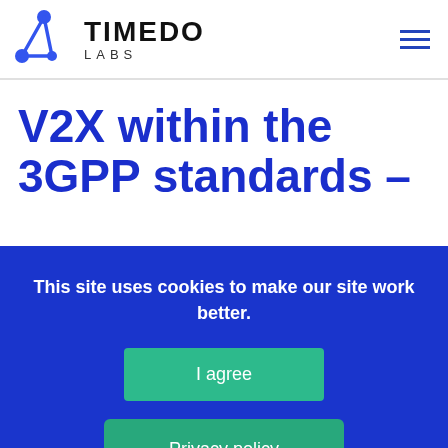TIMEDO LABS
V2X within the 3GPP standards –
This site uses cookies to make our site work better.
I agree
Privacy policy